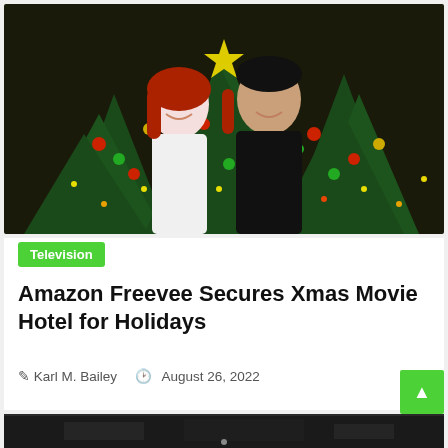[Figure (photo): Two people smiling in front of a decorated Christmas tree with red and green ornaments and lights. A woman with red hair in a white blazer and a man in a black t-shirt.]
Television
Amazon Freevee Secures Xmas Movie Hotel for Holidays
Karl M. Bailey   August 26, 2022
[Figure (photo): Bottom partial image strip showing a dark interior scene.]